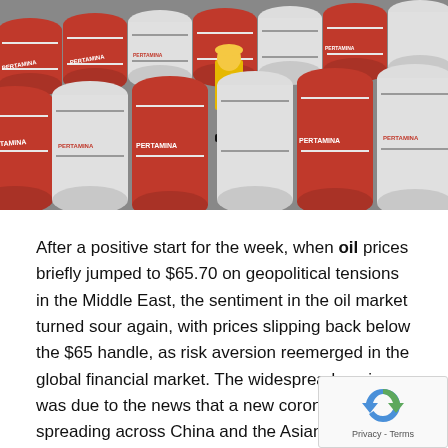[Figure (photo): Workers in yellow protective gear walking among rows of red and white oil barrels/drums labeled with text including 'PERTAMINA'.]
After a positive start for the week, when oil prices briefly jumped to $65.70 on geopolitical tensions in the Middle East, the sentiment in the oil market turned sour again, with prices slipping back below the $65 handle, as risk aversion reemerged in the global financial market. The widespread panic was due to the news that a new coronovirus is spreading across China and the Asian region in general.
Besides, the sentiment among oil traders has deteriorated after the International Energy Agency said it forecasts a surplus in the first half of the year. Considering that the a new virus outbreak threatens consumer demand and ...